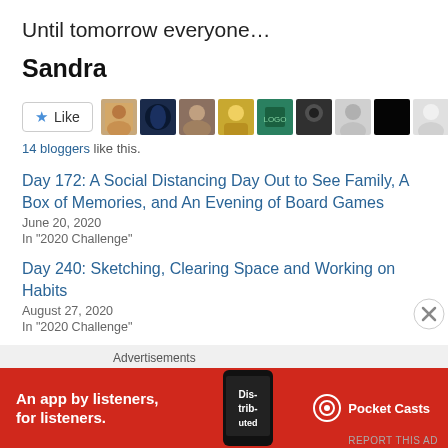Until tomorrow everyone…
Sandra
[Figure (other): Like button with star icon and a row of 11 small avatar images of bloggers]
14 bloggers like this.
Day 172: A Social Distancing Day Out to See Family, A Box of Memories, and An Evening of Board Games
June 20, 2020
In "2020 Challenge"
Day 240: Sketching, Clearing Space and Working on Habits
August 27, 2020
In "2020 Challenge"
Recharging Batteries before Getting Organised
Advertisements
[Figure (infographic): Red advertisement banner for Pocket Casts app reading 'An app by listeners, for listeners.' with Pocket Casts logo and a phone image]